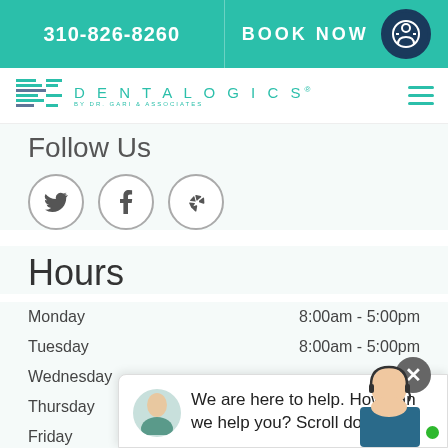310-826-8260 | BOOK NOW
[Figure (logo): Dentalogics by Dr. Gari & Associates logo with teal geometric icon]
Follow Us
[Figure (illustration): Three social media icon circles: Twitter, Facebook, Yelp]
Hours
| Day | Hours |
| --- | --- |
| Monday | 8:00am - 5:00pm |
| Tuesday | 8:00am - 5:00pm |
| Wednesday | Scroll down |
| Thursday | Scroll down |
| Friday | 8:00am - 5:00pm |
| Saturday | Closed |
We are here to help. How can we help you? Scroll down